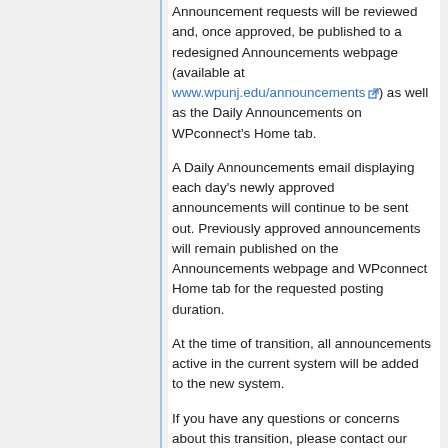Announcement requests will be reviewed and, once approved, be published to a redesigned Announcements webpage (available at www.wpunj.edu/announcements) as well as the Daily Announcements on WPconnect's Home tab.
A Daily Announcements email displaying each day's newly approved announcements will continue to be sent out. Previously approved announcements will remain published on the Announcements webpage and WPconnect Home tab for the requested posting duration.
At the time of transition, all announcements active in the current system will be added to the new system.
If you have any questions or concerns about this transition, please contact our